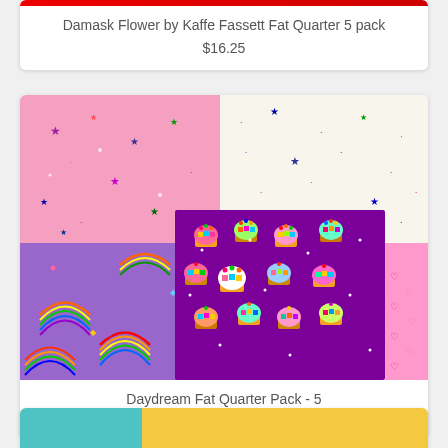[Figure (photo): Partial product image at top of page for Damask Flower product card showing red/crimson fabric strip]
Damask Flower by Kaffe Fassett Fat Quarter 5 pack
$16.25
[Figure (photo): Photo of Daydream Fat Quarter Pack - 5 fabric bundle showing 5 coordinating fabrics: pink with stars, cream/white with stars, purple with rainbows, purple/magenta with cupcakes, pink with rainbow hearts]
Daydream Fat Quarter Pack - 5
$16.25
[Figure (photo): Partial product image at bottom of page showing teal/yellow fabric]